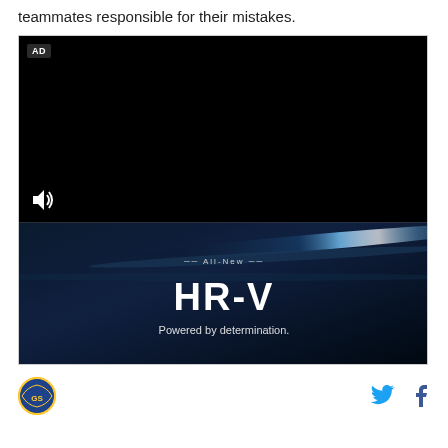teammates responsible for their mistakes.
[Figure (screenshot): Video player showing Honda HR-V advertisement. Black video player area with AD badge in top left, speaker/volume icon at bottom left. Lower portion shows Honda HR-V branding: 'All-New' with decorative lines, 'HR-V' in large white bold text, and 'Powered by determination.' tagline, on a dark blue streaked background.]
[Figure (logo): Golden State Warriors circular logo with blue and gold basketball design.]
[Figure (logo): Twitter bird icon in light blue.]
[Figure (logo): Facebook 'f' icon in dark blue/navy.]